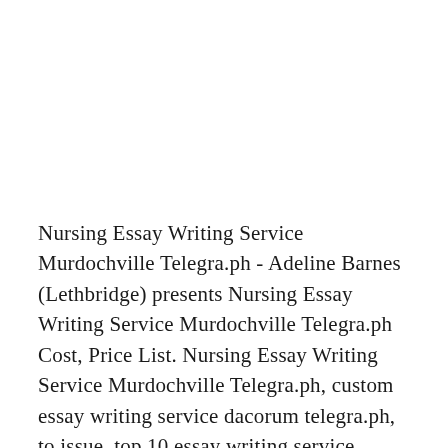Nursing Essay Writing Service Murdochville Telegra.ph - Adeline Barnes (Lethbridge) presents Nursing Essay Writing Service Murdochville Telegra.ph Cost, Price List. Nursing Essay Writing Service Murdochville Telegra.ph, custom essay writing service dacorum telegra.ph, to issue, top 10 essay writing service cornwall telegra.ph, price, best essay writing services mobile telegra.ph. Nursing Essay Writing Service Murdochville Telegra.ph Renee Chan (Fulton) - Academic essay